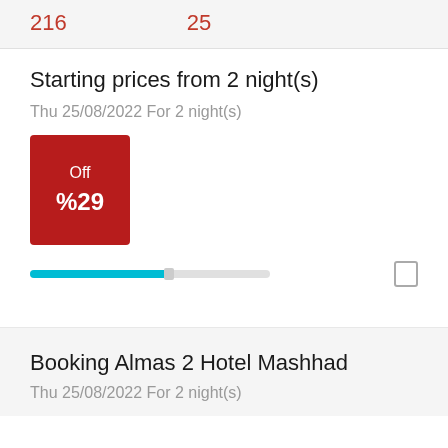216   25
Starting prices from 2 night(s)
Thu 25/08/2022 For 2 night(s)
[Figure (infographic): Dark red discount badge showing 'Off' and '%29']
[Figure (other): Horizontal progress/slider bar in cyan color with thumb indicator]
Booking Almas 2 Hotel Mashhad
Thu 25/08/2022 For 2 night(s)